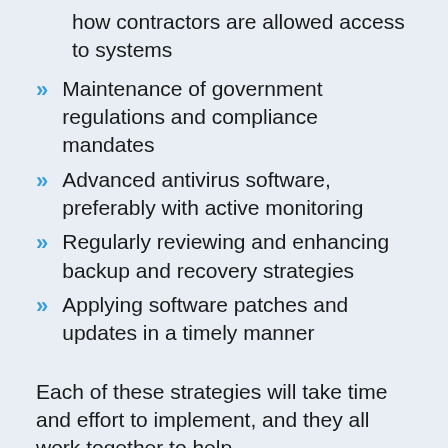how contractors are allowed access to systems
Maintenance of government regulations and compliance mandates
Advanced antivirus software, preferably with active monitoring
Regularly reviewing and enhancing backup and recovery strategies
Applying software patches and updates in a timely manner
Each of these strategies will take time and effort to implement, and they all work together to help